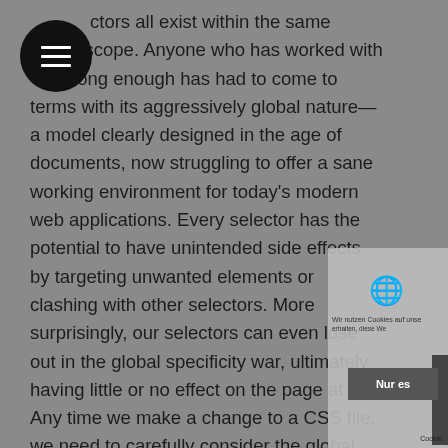ctors all exist within the same global scope. Anyone who has worked with CSS long enough has had to come to terms with its aggressively global nature—a model clearly designed in the age of documents, now struggling to offer a sane working environment for today's modern web applications. Every selector has the potential to have unintended side effects by targeting unwanted elements or clashing with other selectors. More surprisingly, our selectors can even lose out in the global specificity war, ultimately having little or no effect on the page at all. Any time we make a change to a CSS file, we need to carefully consider the global environment in which our styles will sit. No other front end technology requires so much discipline just to keep the code at a minimum level of maintainability. But it doesn't have to be this way. It's time to leave the era of global style sheets behind. It's time for local CSS.
In other languages, it's accepted that modifying the global environment is something to be done rarely if ever.